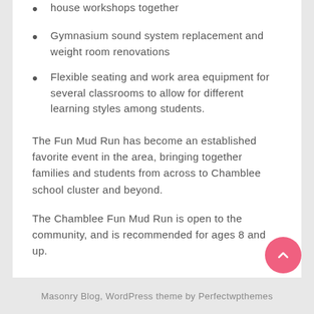house workshops together
Gymnasium sound system replacement and weight room renovations
Flexible seating and work area equipment for several classrooms to allow for different learning styles among students.
The Fun Mud Run has become an established favorite event in the area, bringing together families and students from across to Chamblee school cluster and beyond.
The Chamblee Fun Mud Run is open to the community, and is recommended for ages 8 and up.
Masonry Blog, WordPress theme by Perfectwpthemes